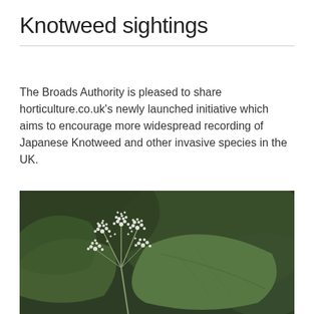Knotweed sightings
The Broads Authority is pleased to share horticulture.co.uk's newly launched initiative which aims to encourage more widespread recording of Japanese Knotweed and other invasive species in the UK.
[Figure (photo): Close-up photograph of Japanese Knotweed white flowers and large green leaves against a dark green leafy background.]